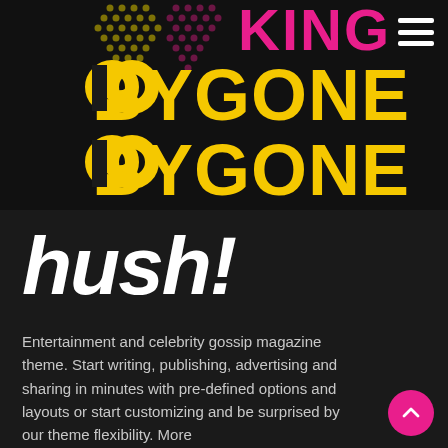[Figure (logo): King Bygone logo with yellow and pink bold text on black background, featuring decorative circular glyphs and dot-pattern diamond shape]
[Figure (logo): hush! italic bold white logo text]
Entertainment and celebrity gossip magazine theme. Start writing, publishing, advertising and sharing in minutes with pre-defined options and layouts or start customizing and be surprised by our theme flexibility. More